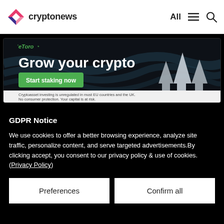cryptonews — All (menu) (search)
[Figure (infographic): eToro advertisement banner: dark background with upward arrows graphic. Text: 'Grow your crypto', green button 'Start staking now'. Disclaimer: 'Cryptoasset investing is unregulated in most EU countries and the UK. No consumer protection. Your capital is at risk.']
GDPR Notice
We use cookies to offer a better browsing experience, analyze site traffic, personalize content, and serve targeted advertisements.By clicking accept, you consent to our privacy policy & use of cookies. (Privacy Policy)
Preferences | Confirm all